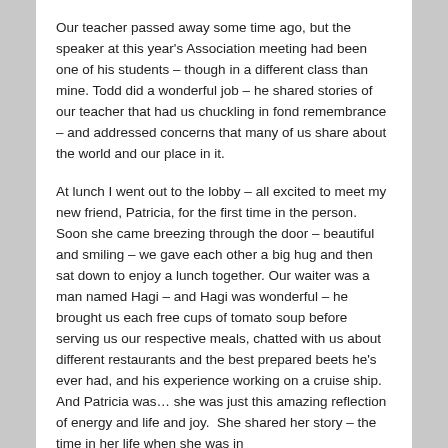Our teacher passed away some time ago, but the speaker at this year's Association meeting had been one of his students – though in a different class than mine. Todd did a wonderful job – he shared stories of our teacher that had us chuckling in fond remembrance – and addressed concerns that many of us share about the world and our place in it.
At lunch I went out to the lobby – all excited to meet my new friend, Patricia, for the first time in the person.  Soon she came breezing through the door – beautiful and smiling – we gave each other a big hug and then sat down to enjoy a lunch together. Our waiter was a man named Hagi – and Hagi was wonderful – he brought us each free cups of tomato soup before serving us our respective meals, chatted with us about different restaurants and the best prepared beets he's ever had, and his experience working on a cruise ship. And Patricia was… she was just this amazing reflection of energy and life and joy.  She shared her story – the time in her life when she was in